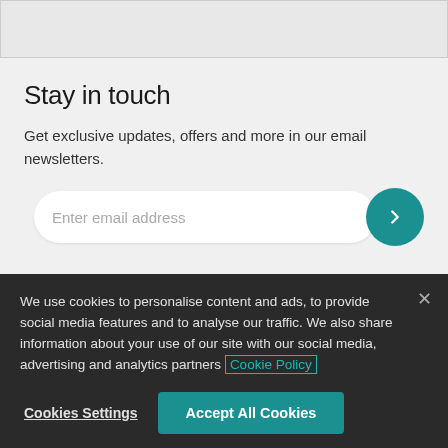Stay in touch
Get exclusive updates, offers and more in our email newsletters.
We use cookies to personalise content and ads, to provide social media features and to analyse our traffic. We also share information about your use of our site with our social media, advertising and analytics partners Cookie Policy
Cookies Settings
Accept All Cookies